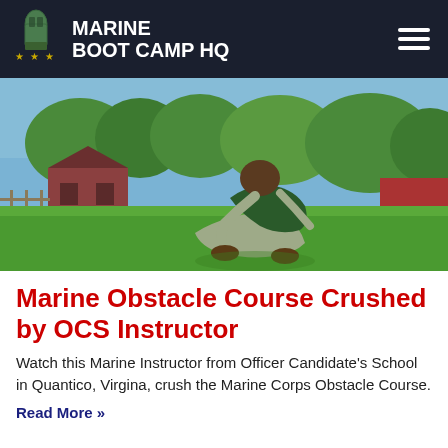MARINE BOOT CAMP HQ
[Figure (photo): A Marine instructor in combat uniform performing a physical maneuver on a grassy field with a red barn and trees in the background at Officer Candidate School, Quantico, Virginia.]
Marine Obstacle Course Crushed by OCS Instructor
Watch this Marine Instructor from Officer Candidate's School in Quantico, Virgina, crush the Marine Corps Obstacle Course.
Read More »